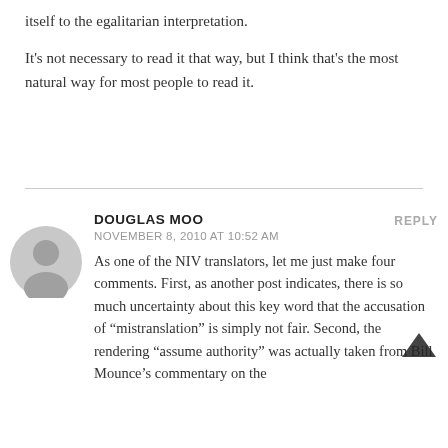itself to the egalitarian interpretation.
It's not necessary to read it that way, but I think that's the most natural way for most people to read it.
DOUGLAS MOO
NOVEMBER 8, 2010 AT 10:52 AM
REPLY
As one of the NIV translators, let me just make four comments. First, as another post indicates, there is so much uncertainty about this key word that the accusation of “mistranslation” is simply not fair. Second, the rendering “assume authority” was actually taken from Bill Mounce’s commentary on the